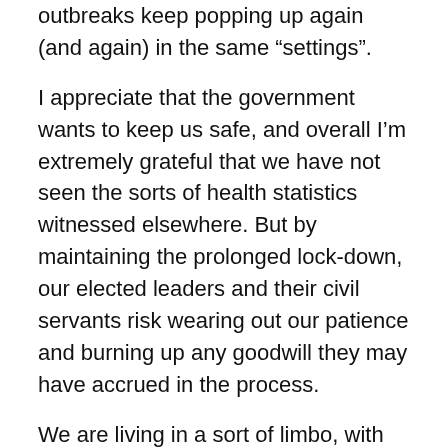outbreaks keep popping up again (and again) in the same “settings”.
I appreciate that the government wants to keep us safe, and overall I’m extremely grateful that we have not seen the sorts of health statistics witnessed elsewhere. But by maintaining the prolonged lock-down, our elected leaders and their civil servants risk wearing out our patience and burning up any goodwill they may have accrued in the process.
We are living in a sort of limbo, with severe restrictions on the one hand, and uncertainty/anxiety on the other. Among other things, the current situation makes it very difficult to plan any trips to visit family and friends inter-state, let alone abroad. (I’ve not seen my immediate family overseas for nearly 3 years.) While I am extremely thankful that I do not work in the “front-line” and have